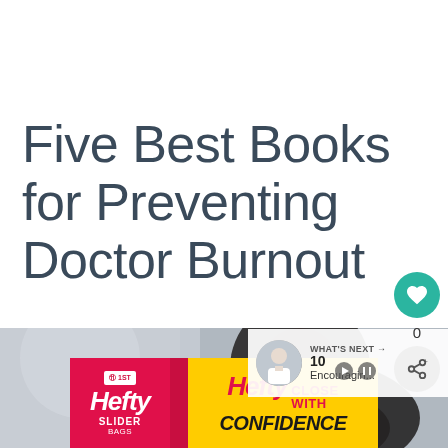Five Best Books for Preventing Doctor Burnout
[Figure (photo): A person appearing stressed or fatigued, suggesting doctor burnout, shown in a blurred clinical setting]
[Figure (screenshot): What's Next widget showing thumbnail of a doctor and text '10 Encouragin...']
[Figure (infographic): Hefty brand advertisement: Hefty Slider bags - Close With Confidence]